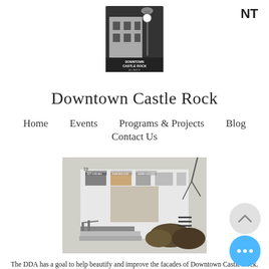NT
[Figure (logo): Downtown Castle Rock Alliance logo — black and white square logo with building and street lamp, text 'DOWNTOWN CASTLE ROCK ALLIANCE']
Downtown Castle Rock
Home
Events
Programs & Projects
Blog
Contact Us
[Figure (photo): Exterior photo of a Downtown Castle Rock storefront/office building with steps, railing, windows, and landscaping in winter.]
The DDA has a goal to help beautify and improve the facades of Downtown Castle Rock. Downtown Businesses can apply for a facade improvement matching grant and receive up to $1,000 toward design work and up to $5,000 toward construction costs. The DDA will match dollar for dollar the investment of the business owner for up to a maximum of $
In addition to its regular facade improvement program, the DDA offers a micro grant program. Businesses can